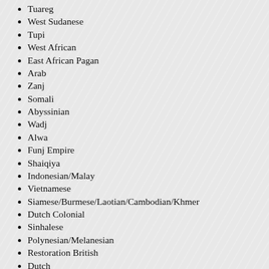Tuareg
West Sudanese
Tupi
West African
East African Pagan
Arab
Zanj
Somali
Abyssinian
Wadj
Alwa
Funj Empire
Shaiqiya
Indonesian/Malay
Vietnamese
Siamese/Burmese/Laotian/Cambodian/Khmer
Dutch Colonial
Sinhalese
Polynesian/Melanesian
Restoration British
Dutch
Scots Western Covenant Rebel
English Monmouth
Scots Jacobite
Scots Constitutional